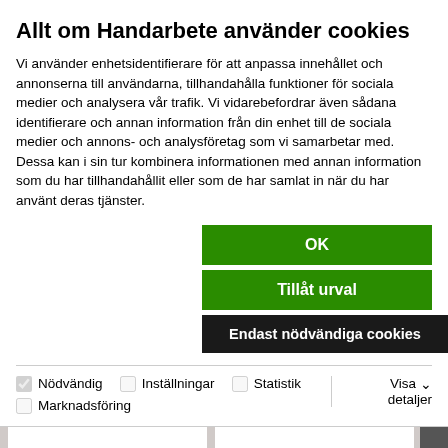Allt om Handarbete använder cookies
Vi använder enhetsidentifierare för att anpassa innehållet och annonserna till användarna, tillhandahålla funktioner för sociala medier och analysera vår trafik. Vi vidarebefordrar även sådana identifierare och annan information från din enhet till de sociala medier och annons- och analysföretag som vi samarbetar med. Dessa kan i sin tur kombinera informationen med annan information som du har tillhandahållit eller som de har samlat in när du har använt deras tjänster.
OK
Tillåt urval
Endast nödvändiga cookies
Nödvändig  Inställningar  Statistik  Marknadsföring  Visa detaljer
[Figure (screenshot): Website product listing showing clothing items: Klänning och Topp, Jacka + Väst +]
Klänning och Topp
Jacka + Väst +